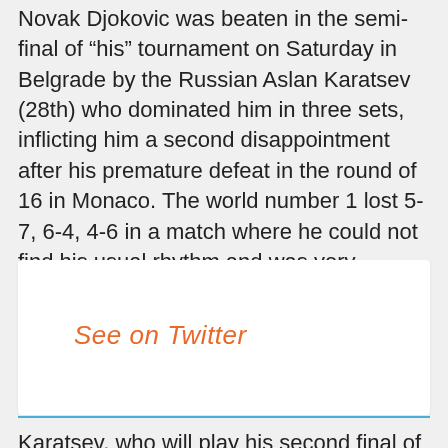Novak Djokovic was beaten in the semi-final of "his" tournament on Saturday in Belgrade by the Russian Aslan Karatsev (28th) who dominated him in three sets, inflicting him a second disappointment after his premature defeat in the round of 16 in Monaco. The world number 1 lost 5-7, 6-4, 4-6 in a match where he could not find his usual rhythm and was very feverish on his faceoffs.
[Figure (other): Embedded Twitter post placeholder box with 'See on Twitter' link in orange italic text]
Karatsev, who will play his second final of the year on Sunday, thus takes revenge on Djokovic who had drastically eliminated him